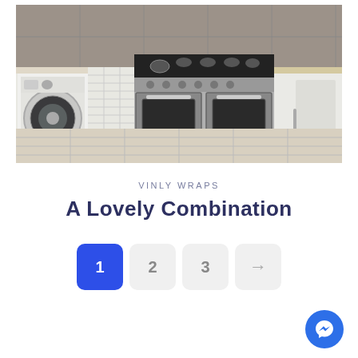[Figure (photo): Kitchen interior showing a stainless steel double oven range with gas hob, white cabinetry, a washing machine on the left, and tiled floor]
VINLY WRAPS
A Lovely Combination
1  2  3  →